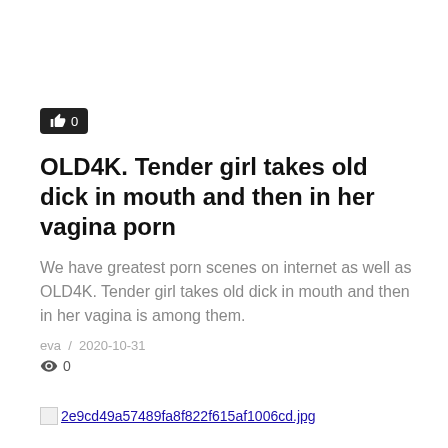[Figure (other): Like button with thumbs up icon and count 0, dark rounded rectangle]
OLD4K. Tender girl takes old dick in mouth and then in her vagina porn
We have greatest porn scenes on internet as well as OLD4K. Tender girl takes old dick in mouth and then in her vagina is among them.
eva / 2020-10-31
0
[Figure (other): Broken image placeholder followed by filename link: 2e9cd49a57489fa8f822f615af1006cd.jpg]